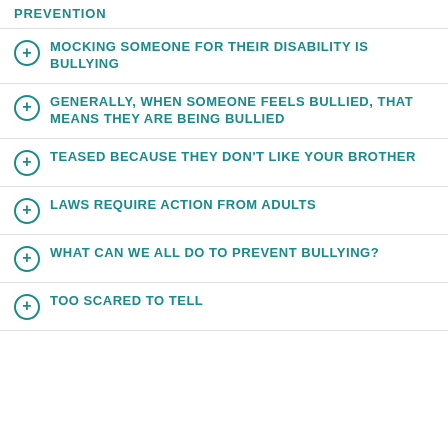PREVENTION
MOCKING SOMEONE FOR THEIR DISABILITY IS BULLYING
GENERALLY, WHEN SOMEONE FEELS BULLIED, THAT MEANS THEY ARE BEING BULLIED
TEASED BECAUSE THEY DON'T LIKE YOUR BROTHER
LAWS REQUIRE ACTION FROM ADULTS
WHAT CAN WE ALL DO TO PREVENT BULLYING?
TOO SCARED TO TELL